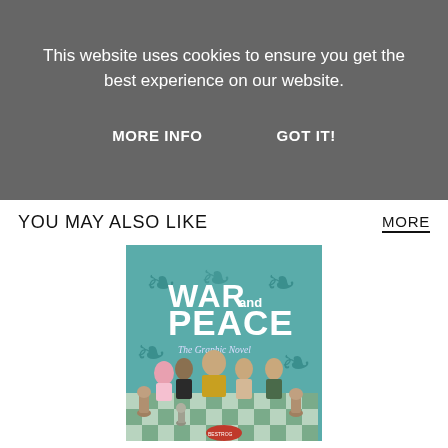This website uses cookies to ensure you get the best experience on our website.
MORE INFO
GOT IT!
YOU MAY ALSO LIKE
MORE
[Figure (illustration): Book cover of 'WAR and PEACE: The Graphic Novel' featuring illustrated characters standing on a chess board with chess pieces around them, teal background with decorative motifs.]